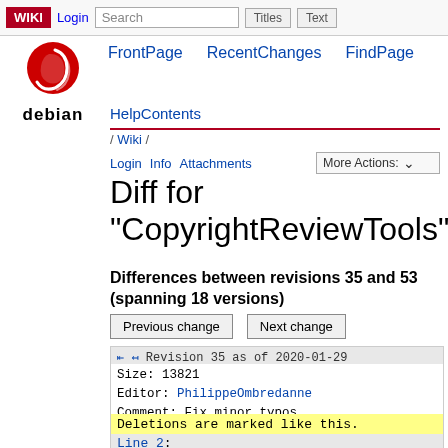WIKI  Login  Search  Titles  Text
[Figure (logo): Debian swirl logo and 'debian' wordmark]
FrontPage  RecentChanges  FindPage
HelpContents
/ Wiki /
Login  Info  Attachments  More Actions:
Diff for "CopyrightReviewTools"
Differences between revisions 35 and 53 (spanning 18 versions)
Previous change  Next change
Revision 35 as of 2020-01-29
Size: 13821
Editor: PhilippeOmbredanne
Comment: Fix minor typos
Deletions are marked like this.
Line 2: